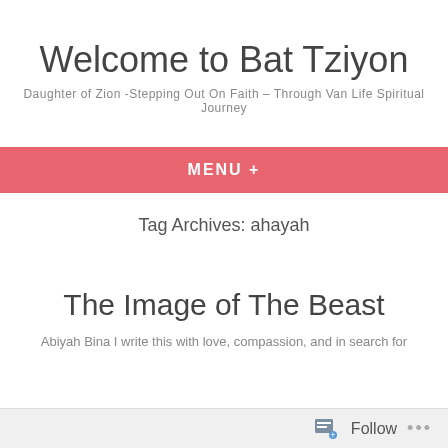Welcome to Bat Tziyon
Daughter of Zion -Stepping Out On Faith – Through Van Life Spiritual Journey
MENU +
Tag Archives: ahayah
The Image of The Beast
Abiyah Bina I write this with love, compassion, and in search for
Follow ...